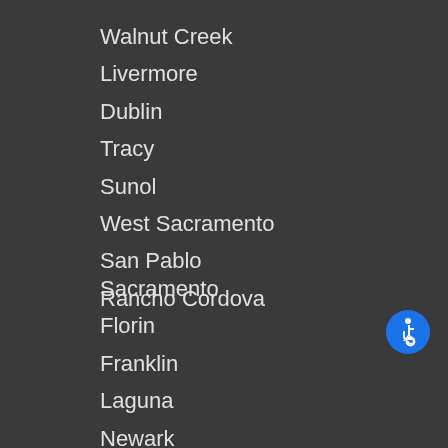Walnut Creek
Livermore
Dublin
Tracy
Sunol
West Sacramento
San Pablo
Rancho Cordova
[Figure (infographic): Blue circle accessibility/wheelchair icon]
Sacramento
Florin
Franklin
Laguna
Newark
Hayward